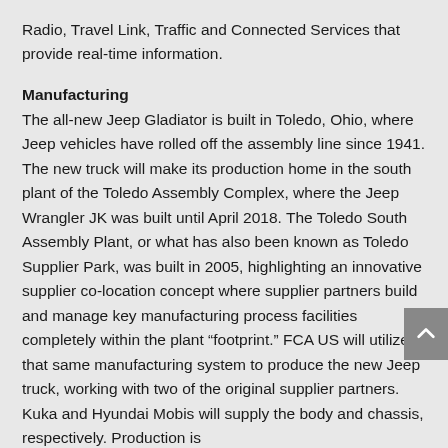Radio, Travel Link, Traffic and Connected Services that provide real-time information.
Manufacturing
The all-new Jeep Gladiator is built in Toledo, Ohio, where Jeep vehicles have rolled off the assembly line since 1941. The new truck will make its production home in the south plant of the Toledo Assembly Complex, where the Jeep Wrangler JK was built until April 2018. The Toledo South Assembly Plant, or what has also been known as Toledo Supplier Park, was built in 2005, highlighting an innovative supplier co-location concept where supplier partners build and manage key manufacturing process facilities completely within the plant “footprint.” FCA US will utilize that same manufacturing system to produce the new Jeep truck, working with two of the original supplier partners. Kuka and Hyundai Mobis will supply the body and chassis, respectively. Production is